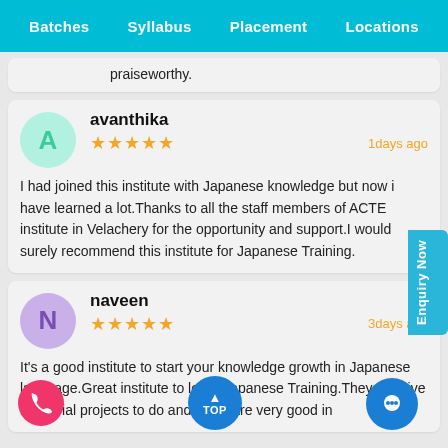Batches  Syllabus  Placement  Locations
praiseworthy.
avanthika
★★★★★  1days ago
I had joined this institute with Japanese knowledge but now i have learned a lot.Thanks to all the staff members of ACTE institute in Velachery for the opportunity and support.I would surely recommend this institute for Japanese Training.
naveen
★★★★★  3days ago
It's a good institute to start your knowledge growth in Japanese language.Great institute to learn Japanese Training.They will give industrial projects to do and staffs are very good in